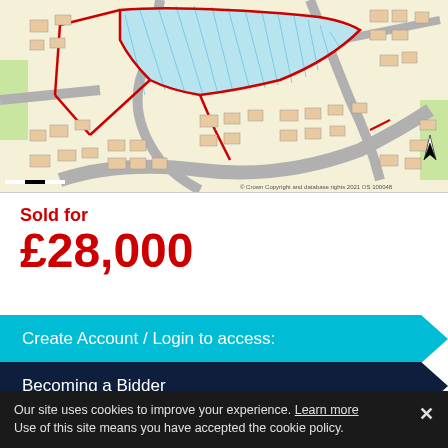[Figure (map): Cadastral/land registry map showing residential streets and buildings in a UK area. Property boundaries outlined in red with blue hatching indicating the subject parcel. Streets, building footprints, and green spaces shown. Crown Copyright notice visible.]
Sold for
£28,000
Create Account / Login to access:
Becoming a Bidder
Our site uses cookies to improve your experience. Learn more Use of this site means you have accepted the cookie policy.